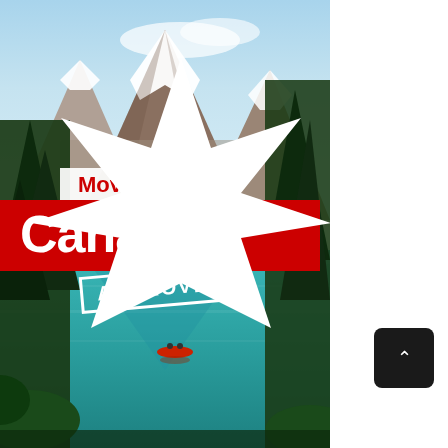[Figure (photo): Scenic photo of a Canadian mountain lake (turquoise water, snow-capped rocky mountains, conifer trees) with a small red canoe on the water. Text overlays include 'Moving to', 'Canada?', 'APPROVED' stamp, and the CANADA2036 logo.]
Moving to Canada?
APPROVED
CANADA2036